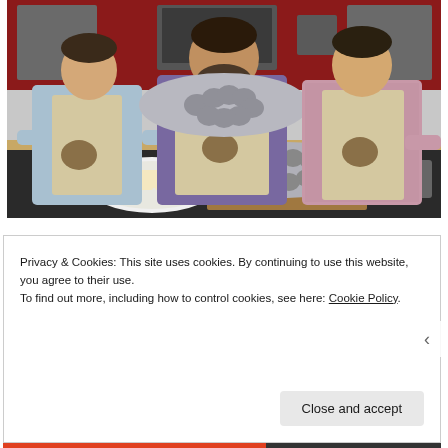[Figure (photo): Three men standing in a kitchen studio, wearing aprons. The middle man holds a large oyster-shaped metal serving tray. On the counter in front of them are plates of food including bread slices and oysters on a wooden board.]
Privacy & Cookies: This site uses cookies. By continuing to use this website, you agree to their use.
To find out more, including how to control cookies, see here: Cookie Policy.